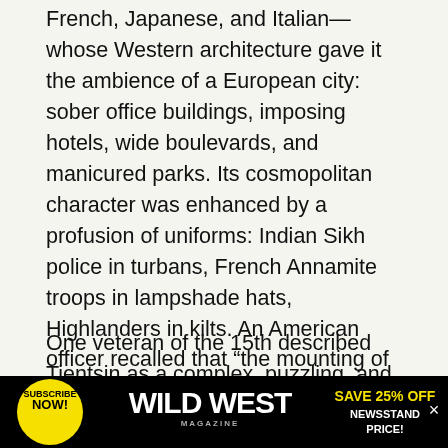French, Japanese, and Italian— whose Western architecture gave it the ambience of a European city: sober office buildings, imposing hotels, wide boulevards, and manicured parks. Its cosmopolitan character was enhanced by a profusion of uniforms: Indian Sikh police in turbans, French Annamite troops in lampshade hats, Highlanders in kilts. An American officer recalled that “the mounting of the guard at Gordon Hall, the Headquarters of the British Concession, was a never-to-be-forgotten military spectacle, rivaling Buckingham Palace.”
One veteran of the 15th described Tientsin as a complex, puzzling, and beautiful city. Yet its all-embracing Western milieu could be disconcerting
[Figure (other): Advertisement banner for Wild West Magazine. Black background with yellow circular 'SUBSCRIBE NOW!' badge on the left, large bold white 'WILD WEST' text in center with 'MAGAZINE' in small letters below, and yellow 'SAVE 25% OFF' with white 'NEWSSTAND PRICE!' text on the right.]